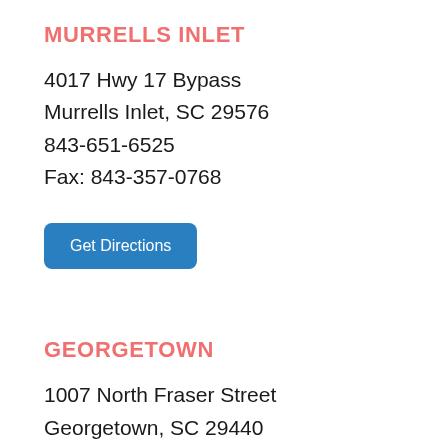MURRELLS INLET
4017 Hwy 17 Bypass
Murrells Inlet, SC 29576
843-651-6525
Fax: 843-357-0768
Get Directions
GEORGETOWN
1007 North Fraser Street
Georgetown, SC 29440